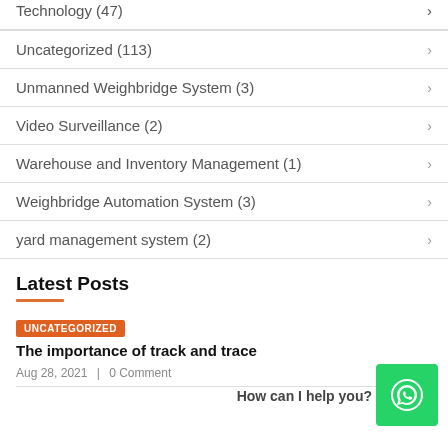Technology (47)
Uncategorized (113)
Unmanned Weighbridge System (3)
Video Surveillance (2)
Warehouse and Inventory Management (1)
Weighbridge Automation System (3)
yard management system (2)
Latest Posts
UNCATEGORIZED
The importance of track and trace
Aug 28, 2021 | 0 Comment
How can I help you?